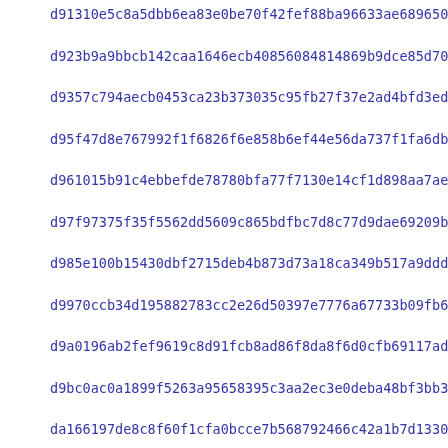d91310e5c8a5dbb6ea83e0be70f42fef88ba96633ae68965054e8a97c9a89
d923b9a9bbcb142caa1646ecb40856084814869b9dce85d707064f8755f51
d9357c794aecb0453ca23b373035c95fb27f37e2ad4bfd3ed20a74677586e
d95f47d8e767992f1f6826f6e858b6ef44e56da737f1fa6db25ec965bffc7
d961015b91c4ebbefde78780bfa77f7130e14cf1d898aa7ae7384557efa37
d97f97375f35f5562dd5609c865bdfbc7d8c77d9dae69209bcf281ed82d9f
d985e100b15430dbf2715deb4b873d73a18ca349b517a9ddd46d8dbf3aa41
d9970ccb34d195882783cc2e26d50397e7776a67733b09fb635c229206fc4
d9a0196ab2fef9619c8d91fcb8ad86f8da8f6d0cfb69117ad78faf8252308
d9bc0ac0a1899f5263a95658395c3aa2ec3e0deba48bf3bb33ceef6e3e781
da166197de8c8f60f1cfa0bcce7b568792466c42a1b7d1330125d6eb7c46e